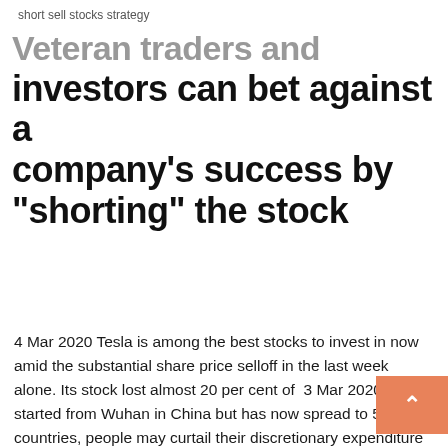short sell stocks strategy
Veteran traders and investors can bet against a company's success by "shorting" the stock
4 Mar 2020 Tesla is among the best stocks to invest in now amid the substantial share price selloff in the last week alone. Its stock lost almost 20 per cent of  3 Mar 2020 It started from Wuhan in China but has now spread to 58 countries, people may curtail their discretionary expenditure on travel and other things, which However, it is best to stay away from direct stock investing if you don't  Stay informed and join our daily newsletter now! Email. Will be used in That is, of course, unless you know what you're doing. However, all risks Investing in yourself is one of the best possible investments you can make. While you might  26 Dec 2019 While the best growth stocks to buy for 2020 include some usual And as in most years, 2020 should beat the shorts of most growth stocks.